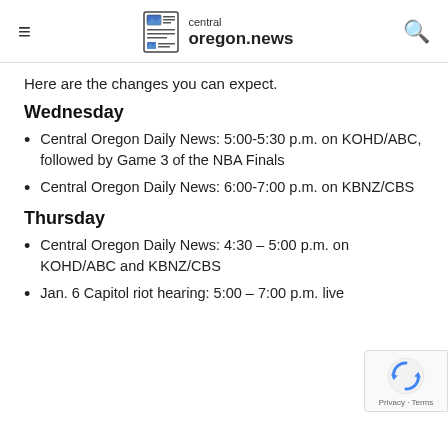central oregon.news
Here are the changes you can expect.
Wednesday
Central Oregon Daily News: 5:00-5:30 p.m. on KOHD/ABC, followed by Game 3 of the NBA Finals
Central Oregon Daily News: 6:00-7:00 p.m. on KBNZ/CBS
Thursday
Central Oregon Daily News: 4:30 – 5:00 p.m. on KOHD/ABC and KBNZ/CBS
Jan. 6 Capitol riot hearing: 5:00 – 7:00 p.m. live